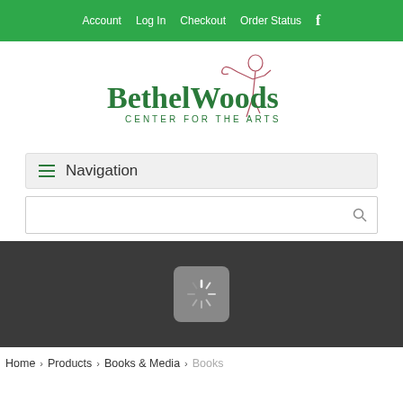Account  Log In  Checkout  Order Status
[Figure (logo): Bethel Woods Center for the Arts logo with decorative figure and green serif text]
Navigation
[Figure (screenshot): Search bar with magnifying glass icon]
[Figure (other): Dark gray hero area with loading spinner icon]
Home > Products > Books & Media > Books